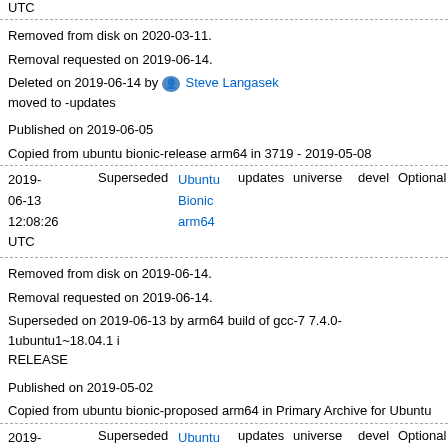UTC
Removed from disk on 2020-03-11.
Removal requested on 2019-06-14.
Deleted on 2019-06-14 by Steve Langasek moved to -updates
Published on 2019-06-05
Copied from ubuntu bionic-release arm64 in 3719 - 2019-05-08
| Date | Status | Pocket | Type | Component | Section | Priority |
| --- | --- | --- | --- | --- | --- | --- |
| 2019-06-13 12:08:26 UTC | Superseded | Ubuntu Bionic arm64 | updates | universe | devel | Optional |
Removed from disk on 2019-06-14.
Removal requested on 2019-06-14.
Superseded on 2019-06-13 by arm64 build of gcc-7 7.4.0-1ubuntu1~18.04.1 i RELEASE
Published on 2019-05-02
Copied from ubuntu bionic-proposed arm64 in Primary Archive for Ubuntu
| Date | Status | Pocket | Type | Component | Section | Priority |
| --- | --- | --- | --- | --- | --- | --- |
| 2019-05-02 00:34:27 UTC | Superseded | Ubuntu Bionic arm64 | updates | universe | devel | Optional 90 |